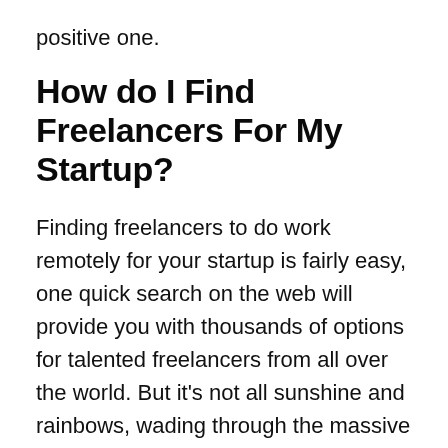positive one.
How do I Find Freelancers For My Startup?
Finding freelancers to do work remotely for your startup is fairly easy, one quick search on the web will provide you with thousands of options for talented freelancers from all over the world. But it’s not all sunshine and rainbows, wading through the massive lists of applicants can be daunting, so you should have a cracker of a project description that will weed out the time wasters from the true